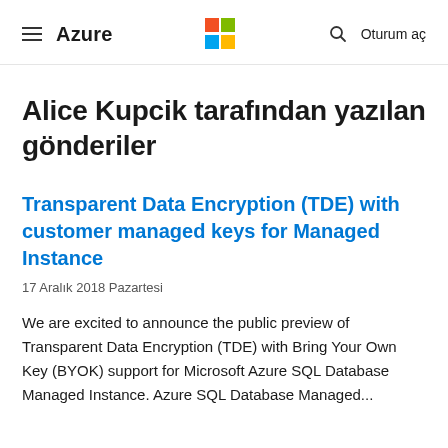Azure | Microsoft logo | Oturum aç
Alice Kupcik tarafından yazılan gönderiler
Transparent Data Encryption (TDE) with customer managed keys for Managed Instance
17 Aralık 2018 Pazartesi
We are excited to announce the public preview of Transparent Data Encryption (TDE) with Bring Your Own Key (BYOK) support for Microsoft Azure SQL Database Managed Instance. Azure SQL Database Managed...